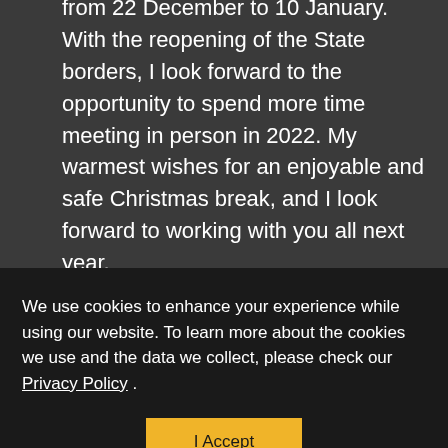from 22 December to 10 January. With the reopening of the State borders, I look forward to the opportunity to spend more time meeting in person in 2022. My warmest wishes for an enjoyable and safe Christmas break, and I look forward to working with you all next year.

Thank you for your contributions
We use cookies to enhance your experience while using our website. To learn more about the cookies we use and the data we collect, please check our Privacy Policy .
I Accept